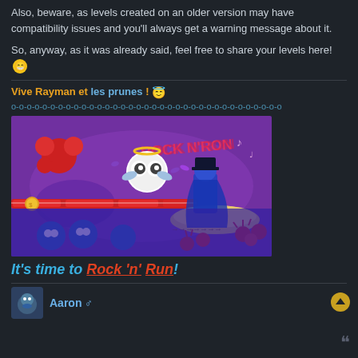Also, beware, as levels created on an older version may have compatibility issues and you'll always get a warning message about it.
So, anyway, as it was already said, feel free to share your levels here! 😁
Vive Rayman et les prunes ! 😇
o-o-o-o-o-o-o-o-o-o-o-o-o-o-o-o-o-o-o-o-o-o-o-o-o-o-o-o-o-o-o-o-o-o-o
[Figure (screenshot): Screenshot of a Rayman video game level called Rock N' Run, showing colorful cartoon characters on a purple background with platforms]
It's time to Rock 'n' Run!
Aaron ♂